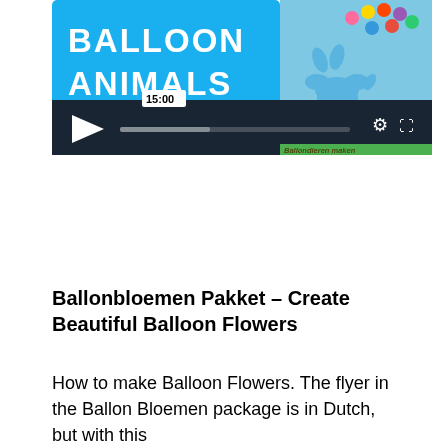[Figure (screenshot): Video player showing 'Balloon Animals' tutorial. Left side has bright blue background with white bold text 'BALLOON ANIMALS'. Right side shows balloon animal illustrations. Controls bar at bottom with play button, time tooltip showing 15:00, progress bar, gear and fullscreen icons. Watermark text 'Ballondieren maken' visible.]
Ballonbloemen Pakket  – Create Beautiful Balloon Flowers
How to make Balloon Flowers. The flyer in the Ballon Bloemen package is in Dutch, but with this